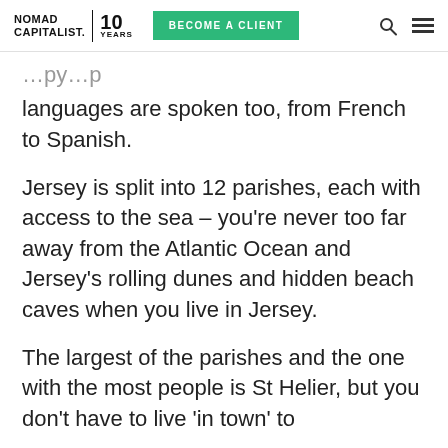NOMAD CAPITALIST. | 10 YEARS   BECOME A CLIENT
languages are spoken too, from French to Spanish.
Jersey is split into 12 parishes, each with access to the sea – you're never too far away from the Atlantic Ocean and Jersey's rolling dunes and hidden beach caves when you live in Jersey.
The largest of the parishes and the one with the most people is St Helier, but you don't have to live 'in town' to